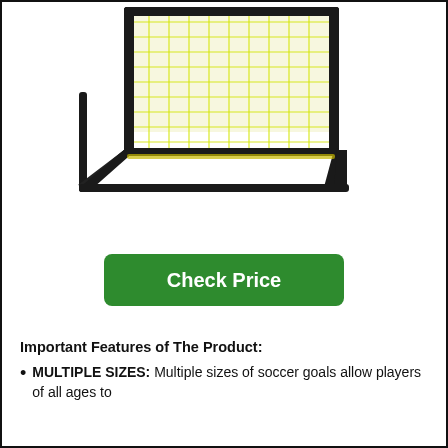[Figure (photo): A soccer goal with a black metal frame and bright yellow/neon net, shown at an angle on a white background.]
Check Price
Important Features of The Product:
MULTIPLE SIZES: Multiple sizes of soccer goals allow players of all ages to